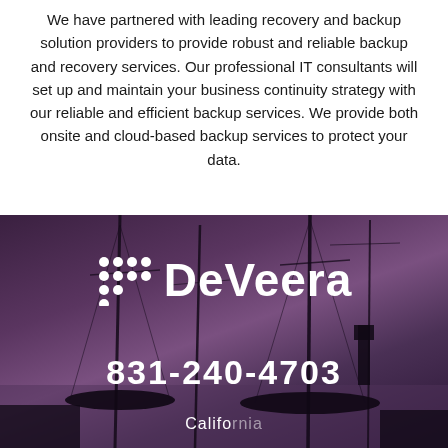We have partnered with leading recovery and backup solution providers to provide robust and reliable backup and recovery services. Our professional IT consultants will set up and maintain your business continuity strategy with our reliable and efficient backup services. We provide both onsite and cloud-based backup services to protect your data.
[Figure (logo): DeVeera company logo with dot-grid icon on dark purple background with marina/mast silhouette photo]
831-240-4703
California